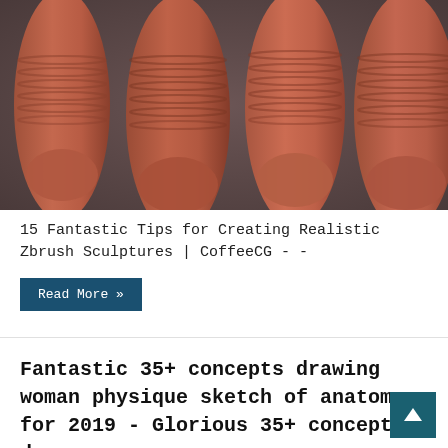[Figure (illustration): 3D rendered fingers/thumb sculptures in reddish-brown color showing segmented anatomy, displayed against a grey background. Four finger forms visible side by side.]
15 Fantastic Tips for Creating Realistic Zbrush Sculptures | CoffeeCG - -
Read More »
Fantastic 35+ concepts drawing woman physique sketch of anatomy for 2019 - Glorious 35+ concepts d